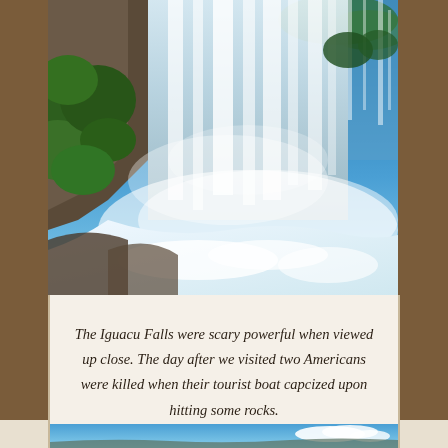[Figure (photo): Close-up photograph of Iguacu Falls showing powerful white rushing water cascading down with green tropical foliage on the left and mist in the air, blue sky visible at the top.]
The Iguacu Falls were scary powerful when viewed up close. The day after we visited two Americans were killed when their tourist boat capcized upon hitting some rocks.
[Figure (photo): Partial photo visible at bottom of page showing blue sky with white clouds and what appears to be a landscape.]